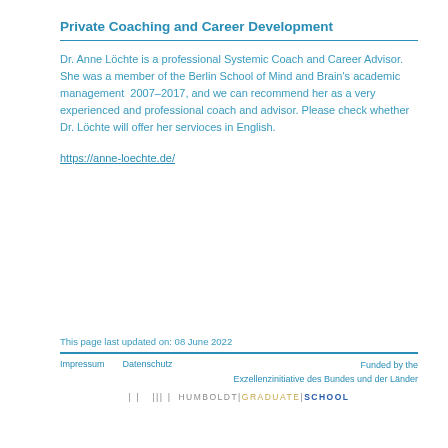Private Coaching and Career Development
Dr. Anne Löchte is a professional Systemic Coach and Career Advisor. She was a member of the Berlin School of Mind and Brain's academic management  2007–2017, and we can recommend her as a very experienced and professional coach and advisor. Please check whether Dr. Löchte will offer her servioces in English.
https://anne-loechte.de/
This page last updated on: 08 June 2022
Impressum   Datenschutz   Funded by the Exzellenzinitiative des Bundes und der Länder
| |   ||| |   HUMBOLDT | GRADUATE | SCHOOL